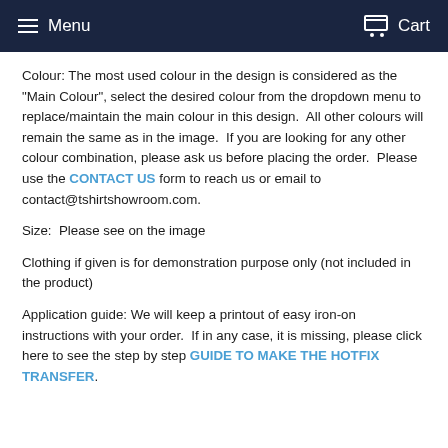Menu   Cart
Colour: The most used colour in the design is considered as the "Main Colour", select the desired colour from the dropdown menu to replace/maintain the main colour in this design.  All other colours will remain the same as in the image.  If you are looking for any other colour combination, please ask us before placing the order.  Please use the CONTACT US form to reach us or email to contact@tshirtshowroom.com.
Size:  Please see on the image
Clothing if given is for demonstration purpose only (not included in the product)
Application guide: We will keep a printout of easy iron-on instructions with your order.  If in any case, it is missing, please click here to see the step by step GUIDE TO MAKE THE HOTFIX TRANSFER.